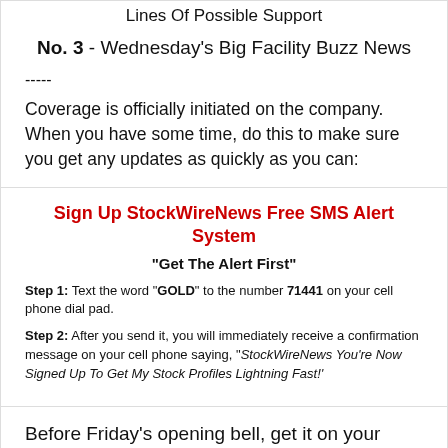Lines Of Possible Support
No. 3 - Wednesday's Big Facility Buzz News
-----
Coverage is officially initiated on the company. When you have some time, do this to make sure you get any updates as quickly as you can:
Sign Up StockWireNews Free SMS Alert System
"Get The Alert First"
Step 1: Text the word "GOLD" to the number 71441 on your cell phone dial pad.
Step 2: After you send it, you will immediately receive a confirmation message on your cell phone saying, "StockWireNews You're Now Signed Up To Get My Stock Profiles Lightning Fast!'
Before Friday's opening bell, get it on your radar.
Sincerely,